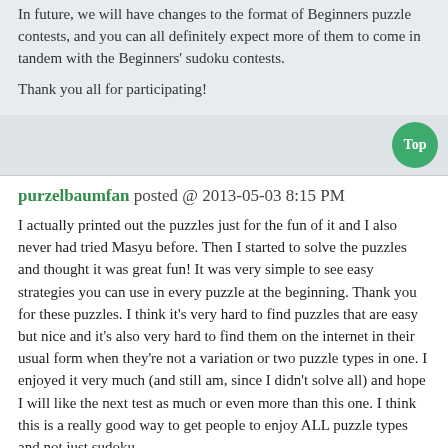In future, we will have changes to the format of Beginners puzzle contests, and you can all definitely expect more of them to come in tandem with the Beginners' sudoku contests.
Thank you all for participating!
purzelbaumfan posted @ 2013-05-03 8:15 PM
I actually printed out the puzzles just for the fun of it and I also never had tried Masyu before. Then I started to solve the puzzles and thought it was great fun! It was very simple to see easy strategies you can use in every puzzle at the beginning. Thank you for these puzzles. I think it's very hard to find puzzles that are easy but nice and it's also very hard to find them on the internet in their usual form when they're not a variation or two puzzle types in one. I enjoyed it very much (and still am, since I didn't solve all) and hope I will like the next test as much or even more than this one. I think this is a really good way to get people to enjoy ALL puzzle types and not just sudoku.